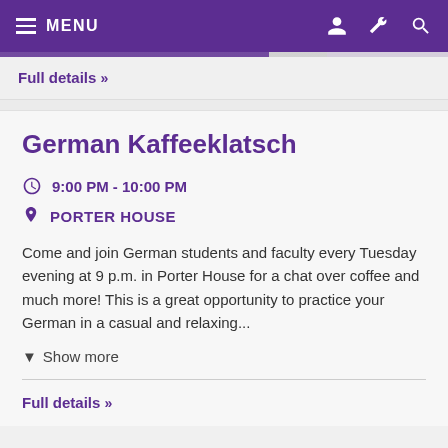MENU
Full details »
German Kaffeeklatsch
9:00 PM - 10:00 PM
PORTER HOUSE
Come and join German students and faculty every Tuesday evening at 9 p.m. in Porter House for a chat over coffee and much more! This is a great opportunity to practice your German in a casual and relaxing...
▾ Show more
Full details »